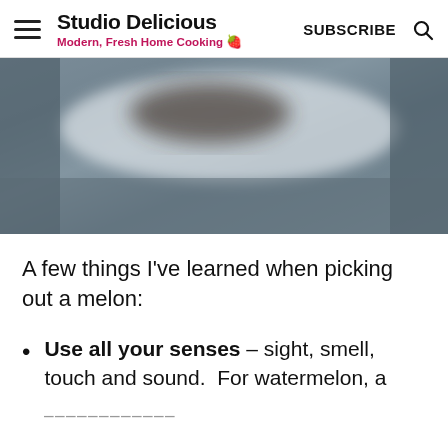Studio Delicious — Modern, Fresh Home Cooking | SUBSCRIBE
[Figure (photo): Cropped blurry photo showing a watermelon being cut, dark background with white highlight from blade or cut surface]
A few things I've learned when picking out a melon:
Use all your senses – sight, smell, touch and sound.  For watermelon, a [continues below]